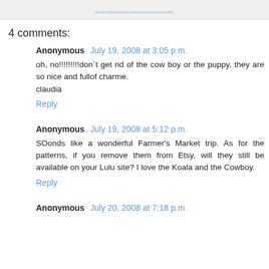..............................
4 comments:
Anonymous July 19, 2008 at 3:05 p.m.
oh, no!!!!!!!!!don`t get rid of the cow boy or the puppy, they are so nice and fullof charme.
claudia
Reply
Anonymous July 19, 2008 at 5:12 p.m.
SOonds like a wonderful Farmer's Market trip. As for the patterns, if you remove them from Etsy, will they still be available on your Lulu site? I love the Koala and the Cowboy.
Reply
Anonymous July 20, 2008 at 7:18 p.m.